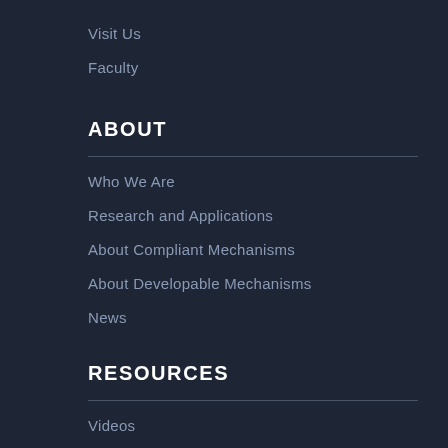Visit Us
Faculty
ABOUT
Who We Are
Research and Applications
About Compliant Mechanisms
About Developable Mechanisms
News
RESOURCES
Videos